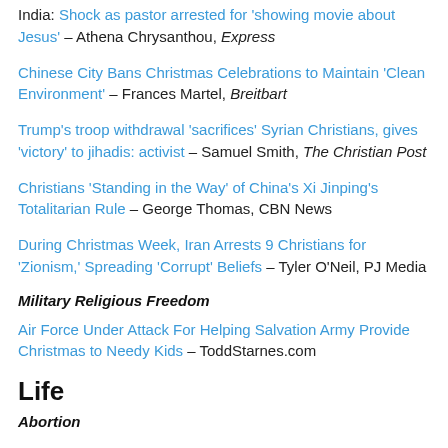India: Shock as pastor arrested for 'showing movie about Jesus' – Athena Chrysanthou, Express
Chinese City Bans Christmas Celebrations to Maintain 'Clean Environment' – Frances Martel, Breitbart
Trump's troop withdrawal 'sacrifices' Syrian Christians, gives 'victory' to jihadis: activist – Samuel Smith, The Christian Post
Christians 'Standing in the Way' of China's Xi Jinping's Totalitarian Rule – George Thomas, CBN News
During Christmas Week, Iran Arrests 9 Christians for 'Zionism,' Spreading 'Corrupt' Beliefs – Tyler O'Neil, PJ Media
Military Religious Freedom
Air Force Under Attack For Helping Salvation Army Provide Christmas to Needy Kids – ToddStarnes.com
Life
Abortion